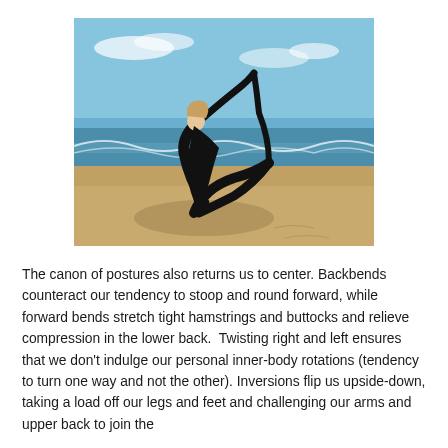[Figure (photo): A woman in black clothing performing a yoga pose on a sandy beach, arching her back and holding her raised leg while seated. Blue sky and ocean waves in the background.]
The canon of postures also returns us to center. Backbends counteract our tendency to stoop and round forward, while forward bends stretch tight hamstrings and buttocks and relieve compression in the lower back.  Twisting right and left ensures that we don't indulge our personal inner-body rotations (tendency to turn one way and not the other). Inversions flip us upside-down, taking a load off our legs and feet and challenging our arms and upper back to join the